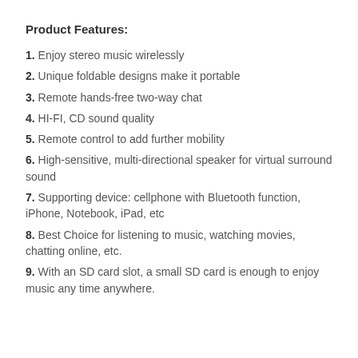Product Features:
1. Enjoy stereo music wirelessly
2. Unique foldable designs make it portable
3. Remote hands-free two-way chat
4. HI-FI, CD sound quality
5. Remote control to add further mobility
6. High-sensitive, multi-directional speaker for virtual surround sound
7. Supporting device: cellphone with Bluetooth function, iPhone, Notebook, iPad, etc
8. Best Choice for listening to music, watching movies, chatting online, etc.
9. With an SD card slot, a small SD card is enough to enjoy music any time anywhere.